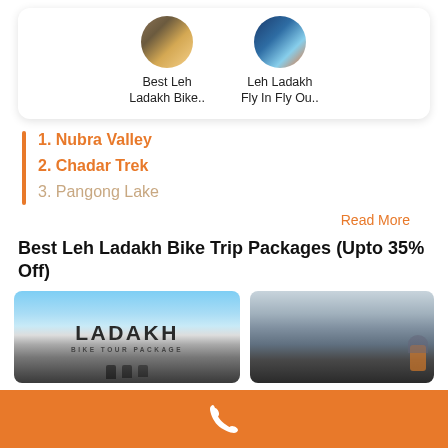[Figure (illustration): Two circular tour package thumbnails: 'Best Leh Ladakh Bike..' and 'Leh Ladakh Fly In Fly Ou..']
1. Nubra Valley
2. Chadar Trek
3. Pangong Lake
Read More
Best Leh Ladakh Bike Trip Packages (Upto 35% Off)
[Figure (photo): Ladakh Bike Tour Package promotional image with text overlay 'LADAKH BIKE TOUR PACKAGE' and motorcyclists riding]
[Figure (photo): Motorcycle in snowy mountain landscape in Ladakh]
[Figure (illustration): Orange footer bar with white phone/call icon]